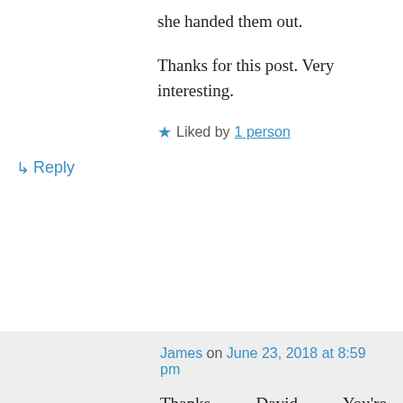she handed them out.
Thanks for this post. Very interesting.
★ Liked by 1 person
↳ Reply
James on June 23, 2018 at 8:59 pm
Thanks, David. You're completely right. I'm not sure I could have gone through with it if it was something I knew about beforehand!
I think they are very valid points about Jo. And I too am sad I didn't get a Nature Valley cereal bar. I'll take the handshake 🙂
★ Like